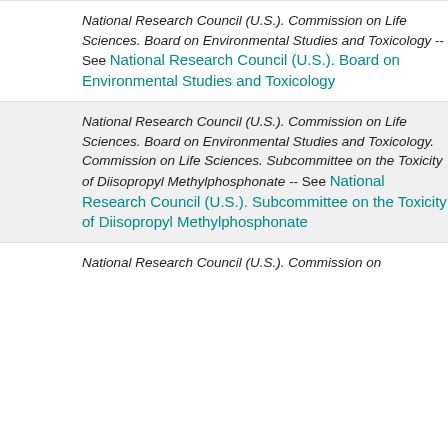National Research Council (U.S.). Commission on Life Sciences. Board on Environmental Studies and Toxicology -- See National Research Council (U.S.). Board on Environmental Studies and Toxicology
National Research Council (U.S.). Commission on Life Sciences. Board on Environmental Studies and Toxicology. Commission on Life Sciences. Subcommittee on the Toxicity of Diisopropyl Methylphosphonate -- See National Research Council (U.S.). Subcommittee on the Toxicity of Diisopropyl Methylphosphonate
National Research Council (U.S.). Commission on